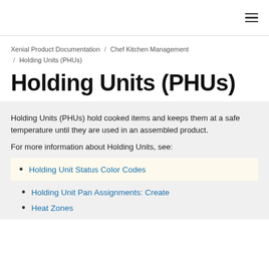≡
Xenial Product Documentation / Chef Kitchen Management / Holding Units (PHUs)
Holding Units (PHUs)
Holding Units (PHUs) hold cooked items and keeps them at a safe temperature until they are used in an assembled product.
For more information about Holding Units, see:
Holding Unit Status Color Codes
Holding Unit Pan Assignments: Create
Heat Zones